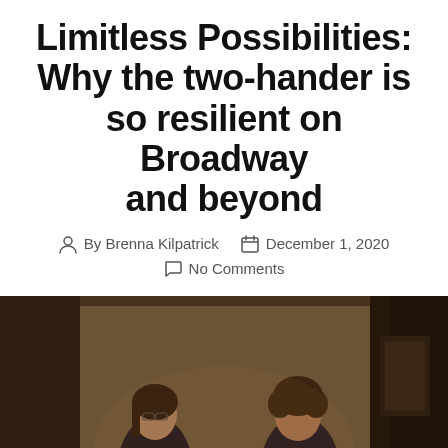Limitless Possibilities: Why the two-hander is so resilient on Broadway and beyond
By Brenna Kilpatrick   December 1, 2020   No Comments
[Figure (photo): Two actors sitting across a small table from each other in a dimly lit stage set — a woman with glasses and dark hair on the left, a man with curly hair on the right, both in dark clothing, facing each other in an intimate conversation scene.]